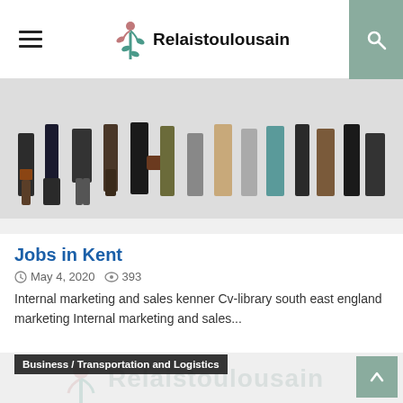Relaistoulousain
[Figure (photo): Group of business people shown from waist down, standing in a row, various professional attire including suits and carrying briefcases]
Jobs in Kent
May 4, 2020   393
Internal marketing and sales kenner Cv-library south east england marketing Internal marketing and sales...
Business / Transportation and Logistics
[Figure (illustration): Relaistoulousain watermark logo — large faded plant/person icon with text Relaistoulousain in the background of a light grey card]